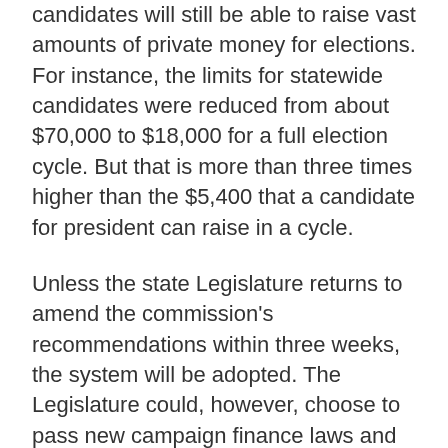candidates will still be able to raise vast amounts of private money for elections. For instance, the limits for statewide candidates were reduced from about $70,000 to $18,000 for a full election cycle. But that is more than three times higher than the $5,400 that a candidate for president can raise in a cycle.
Unless the state Legislature returns to amend the commission's recommendations within three weeks, the system will be adopted. The Legislature could, however, choose to pass new campaign finance laws and tweak the program in the next legislative session, which begins in January.
The commission also approved a higher threshold for parties to obtain a ballot line, increasing it from 50,000 votes in a gubernatorial election to 130,000 votes every two years, and increased the ballot petition signature requirement for statewide candidates from 15,000 to 45,000. To observers the